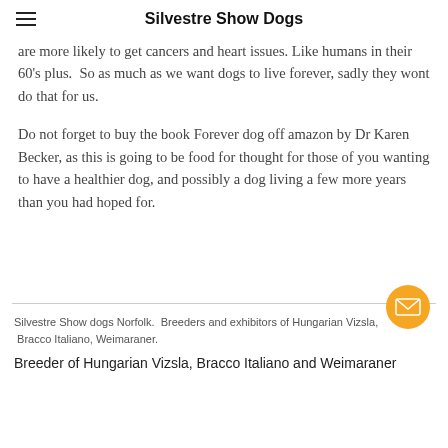Silvestre Show Dogs
are more likely to get cancers and heart issues. Like humans in their 60's plus.  So as much as we want dogs to live forever, sadly they wont do that for us.
Do not forget to buy the book Forever dog off amazon by Dr Karen Becker, as this is going to be food for thought for those of you wanting to have a healthier dog, and possibly a dog living a few more years than you had hoped for.
Silvestre Show dogs Norfolk.  Breeders and exhibitors of Hungarian Vizsla,  Bracco Italiano, Weimaraner.
Breeder of Hungarian Vizsla, Bracco Italiano and Weimaraner